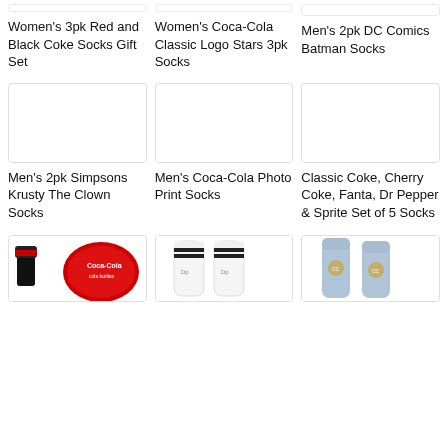Women's 3pk Red and Black Coke Socks Gift Set
Women's Coca-Cola Classic Logo Stars 3pk Socks
Men's 2pk DC Comics Batman Socks
[Figure (photo): Blank white product image placeholder]
Men's 2pk Simpsons Krusty The Clown Socks
[Figure (photo): Blank white product image placeholder]
Men's Coca-Cola Photo Print Socks
[Figure (photo): Blank white product image placeholder]
Classic Coke, Cherry Coke, Fanta, Dr Pepper & Sprite Set of 5 Socks
[Figure (photo): Coca-Cola themed socks in red tin gift box]
[Figure (photo): White socks with black stripe and Disney logo]
[Figure (photo): Light blue socks with embroidered detail]